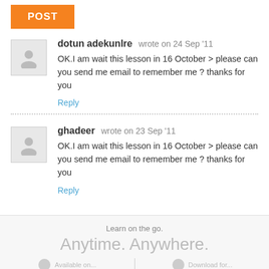POST
dotun adekunlre wrote on 24 Sep '11
OK.I am wait this lesson in 16 October > please can you send me email to remember me ? thanks for you
Reply
ghadeer wrote on 23 Sep '11
OK.I am wait this lesson in 16 October > please can you send me email to remember me ? thanks for you
Reply
Learn on the go.
Anytime. Anywhere.